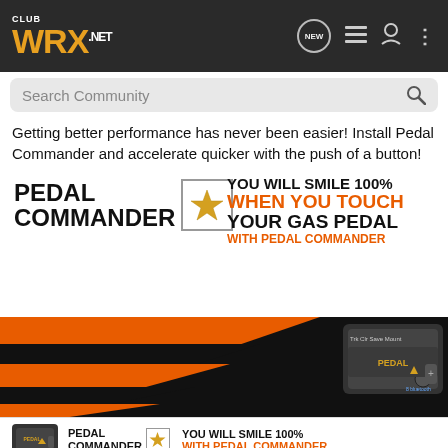CLUB WRX.NET
Search Community
Getting better performance has never been easier! Install Pedal Commander and accelerate quicker with the push of a button!
[Figure (infographic): Pedal Commander advertisement. Large orange and black lightning bolt graphic background with Pedal Commander logo (star in box), text: YOU WILL SMILE 100% WHEN YOU TOUCH YOUR GAS PEDAL WITH PEDAL COMMANDER. Shows a Pedal Commander device in the corner. Bottom strip repeats the logo and tagline: YOU WILL SMILE 100% WITH PEDAL COMMANDER.]